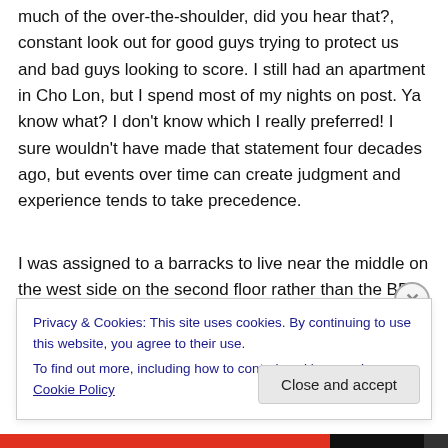much of the over-the-shoulder, did you hear that?, constant look out for good guys trying to protect us and bad guys looking to score. I still had an apartment in Cho Lon, but I spend most of my nights on post. Ya know what? I don't know which I really preferred! I sure wouldn't have made that statement four decades ago, but events over time can create judgment and experience tends to take precedence.
I was assigned to a barracks to live near the middle on the west side on the second floor rather than the BEO hotel
Privacy & Cookies: This site uses cookies. By continuing to use this website, you agree to their use.
To find out more, including how to control cookies, see here: Cookie Policy
Close and accept